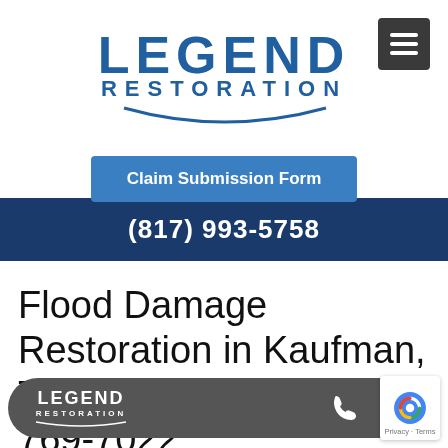[Figure (logo): Legend Restoration logo with blue text and curved underline swoosh]
Claim Submission Form
(817) 993-5758
Flood Damage Restoration in Kaufman, Texas, 75142, (817) 769-7022
[Figure (other): Bottom sticky bar with Legend Restoration logo, phone icon, and calendar icon on dark grey rounded background, plus Google reCAPTCHA badge]